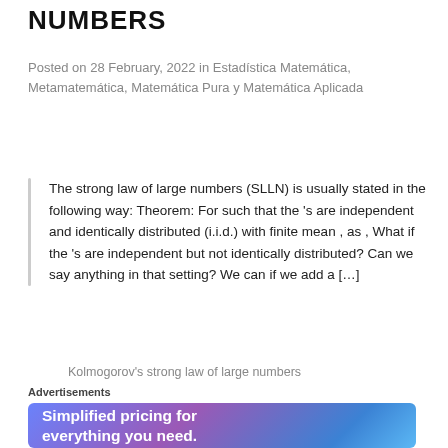NUMBERS
Posted on 28 February, 2022 in Estadística Matemática, Metamatemática, Matemática Pura y Matemática Aplicada
The strong law of large numbers (SLLN) is usually stated in the following way: Theorem: For such that the 's are independent and identically distributed (i.i.d.) with finite mean , as , What if the 's are independent but not identically distributed? Can we say anything in that setting? We can if we add a […]
Kolmogorov's strong law of large numbers
Advertisements
[Figure (illustration): Advertisement banner with gradient background (blue/purple) and white text reading 'Simplified pricing for everything you need.']